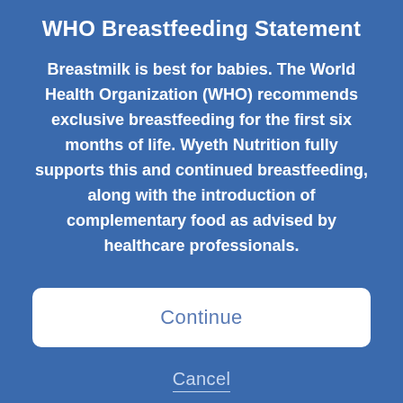WHO Breastfeeding Statement
Breastmilk is best for babies. The World Health Organization (WHO) recommends exclusive breastfeeding for the first six months of life. Wyeth Nutrition fully supports this and continued breastfeeding, along with the introduction of complementary food as advised by healthcare professionals.
Continue
Cancel